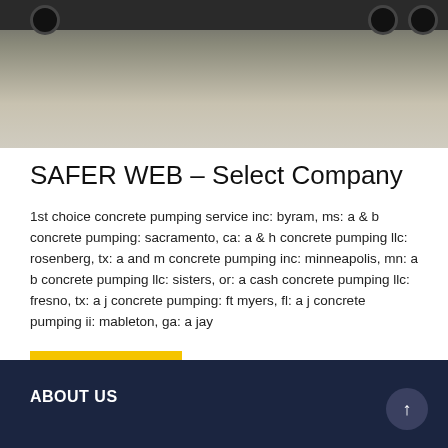[Figure (photo): Construction equipment (concrete pump truck) on a flat surface, showing wheels and machinery bar at the top of the frame.]
SAFER WEB – Select Company
1st choice concrete pumping service inc: byram, ms: a & b concrete pumping: sacramento, ca: a & h concrete pumping llc: rosenberg, tx: a and m concrete pumping inc: minneapolis, mn: a b concrete pumping llc: sisters, or: a cash concrete pumping llc: fresno, tx: a j concrete pumping: ft myers, fl: a j concrete pumping ii: mableton, ga: a jay
Learn More
ABOUT US